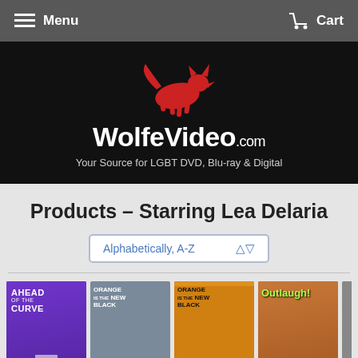Menu   Cart
[Figure (logo): WolfeVideo.com logo with red wolf/fox silhouette graphic above bold white text 'WolfeVideo.com' on black background]
Your Source for LGBT DVD, Blu-ray & Digital
Products – Starring Lea Delaria
Alphabetically, A-Z
[Figure (photo): Four movie/show product covers: 'Ahead of the Curve', 'Orange is the New Black' (Season 1), 'Orange is the New Black' (another edition), 'Outlaugh!']